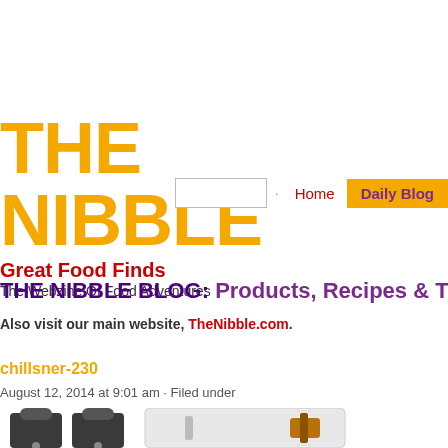THE NIBBLE
Great Food Finds
The Webzine Of Food Adventures
THE NIBBLE BLOG: Products, Recipes & Tren…
Also visit our main website, TheNibble.com.
chillsner-230
August 12, 2014 at 9:01 am · Filed under
[Figure (photo): Product photo showing two small bottle stoppers/chilling devices on the left and a larger cylindrical container on the right, partially cropped at the bottom of the page]